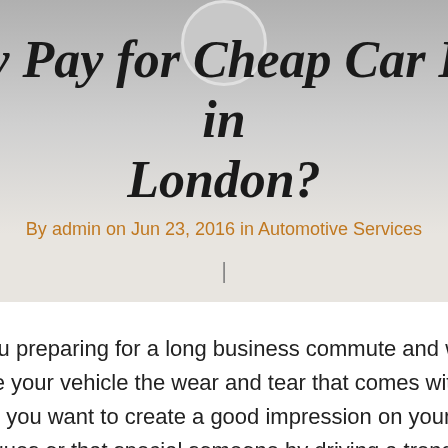[Figure (photo): Header image showing a car interior/driving scene, partially obscured by a circular avatar/profile image overlay in the center top]
Why Pay for Cheap Car Hire in London?
By admin on Jun 23, 2016 in Automotive Services
|
Are you preparing for a long business commute and want to save your vehicle the wear and tear that comes with it? Maybe you want to create a good impression on your work colleagues or that special someone by driving a trendy ride? Whatever your reasons for seeking out car rental services, Audi car hire in London is a good option. The Audi range is considerably diverse and the—